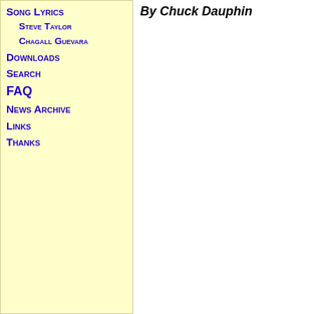Song Lyrics
Steve Taylor
Chagall Guevara
Downloads
Search
FAQ
News Archive
Links
Thanks
By Chuck Dauphin